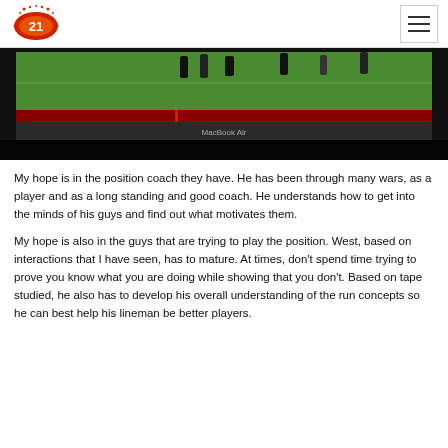21 (logo)
[Figure (photo): A MacBook Air laptop displaying a football game video, showing players on a green field. The laptop is photographed from above against a dark background.]
My hope is in the position coach they have. He has been through many wars, as a player and as a long standing and good coach. He understands how to get into the minds of his guys and find out what motivates them.
My hope is also in the guys that are trying to play the position. West, based on interactions that I have seen, has to mature. At times, don't spend time trying to prove you know what you are doing while showing that you don't. Based on tape studied, he also has to develop his overall understanding of the run concepts so he can best help his lineman be better players.